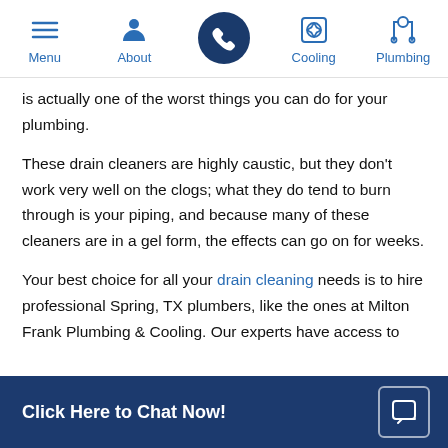Menu | About | [Phone] | Cooling | Plumbing
is actually one of the worst things you can do for your plumbing.
These drain cleaners are highly caustic, but they don't work very well on the clogs; what they do tend to burn through is your piping, and because many of these cleaners are in a gel form, the effects can go on for weeks.
Your best choice for all your drain cleaning needs is to hire professional Spring, TX plumbers, like the ones at Milton Frank Plumbing & Cooling. Our experts have access to
Click Here to Chat Now!